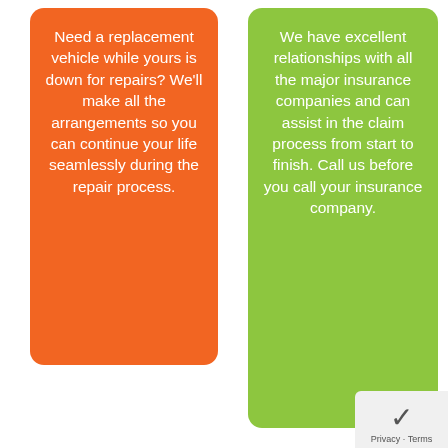Need a replacement vehicle while yours is down for repairs? We'll make all the arrangements so you can continue your life seamlessly during the repair process.
We have excellent relationships with all the major insurance companies and can assist in the claim process from start to finish. Call us before you call your insurance company.